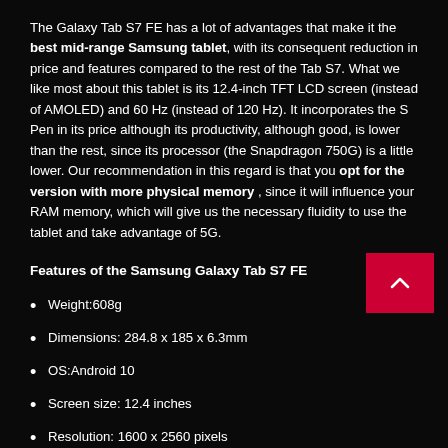The Galaxy Tab S7 FE has a lot of advantages that make it the best mid-range Samsung tablet, with its consequent reduction in price and features compared to the rest of the Tab S7. What we like most about this tablet is its 12.4-inch TFT LCD screen (instead of AMOLED) and 60 Hz (instead of 120 Hz). It incorporates the S Pen in its price although its productivity, although good, is lower than the rest, since its processor (the Snapdragon 750G) is a little lower. Our recommendation in this regard is that you opt for the version with more physical memory , since it will influence your RAM memory, which will give us the necessary fluidity to use the tablet and take advantage of 5G.
Features of the Samsung Galaxy Tab S7 FE
Weight:608g
Dimensions: 284.8 x 185 x 6.3mm
OS:Android 10
Screen size: 12.4 inches
Resolution: 1600 x 2560 pixels